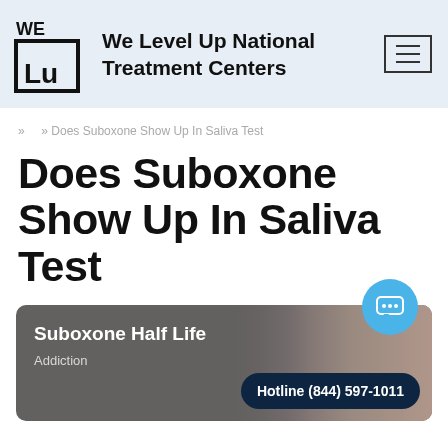We Level Up National Treatment Centers
» Does Suboxone Show Up In Saliva Test
Does Suboxone Show Up In Saliva Test
[Figure (screenshot): Card showing 'Suboxone Half Life' with Addiction tag, a person's photo, chat bubble icon, and Hotline (844) 597-1011 button]